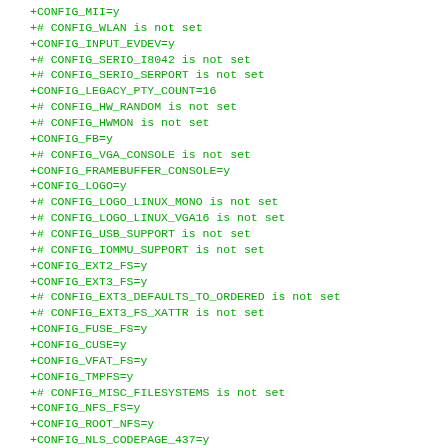+CONFIG_MII=y
+# CONFIG_WLAN is not set
+CONFIG_INPUT_EVDEV=y
+# CONFIG_SERIO_I8042 is not set
+# CONFIG_SERIO_SERPORT is not set
+CONFIG_LEGACY_PTY_COUNT=16
+# CONFIG_HW_RANDOM is not set
+# CONFIG_HWMON is not set
+CONFIG_FB=y
+# CONFIG_VGA_CONSOLE is not set
+CONFIG_FRAMEBUFFER_CONSOLE=y
+CONFIG_LOGO=y
+# CONFIG_LOGO_LINUX_MONO is not set
+# CONFIG_LOGO_LINUX_VGA16 is not set
+# CONFIG_USB_SUPPORT is not set
+# CONFIG_IOMMU_SUPPORT is not set
+CONFIG_EXT2_FS=y
+CONFIG_EXT3_FS=y
+# CONFIG_EXT3_DEFAULTS_TO_ORDERED is not set
+# CONFIG_EXT3_FS_XATTR is not set
+CONFIG_FUSE_FS=y
+CONFIG_CUSE=y
+CONFIG_VFAT_FS=y
+CONFIG_TMPFS=y
+# CONFIG_MISC_FILESYSTEMS is not set
+CONFIG_NFS_FS=y
+CONFIG_ROOT_NFS=y
+CONFIG_NLS_CODEPAGE_437=y
+CONFIG_NLS_ISO8859_1=y
+CONFIG_MAGIC_SYSRQ=y